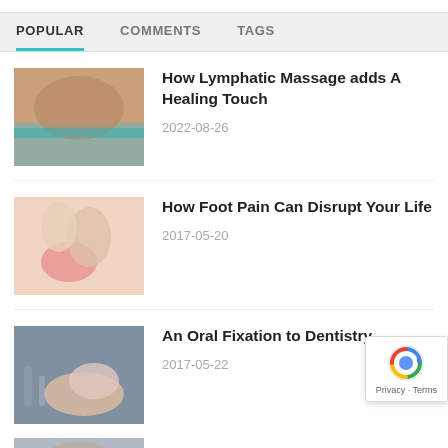POPULAR | COMMENTS | TAGS
[Figure (photo): Massage therapy photo showing person receiving back massage]
How Lymphatic Massage adds A Healing Touch
2022-08-26
[Figure (photo): Photo of a foot with red pain area highlighted]
How Foot Pain Can Disrupt Your Life
2017-05-20
[Figure (photo): Photo of dental procedure, dentist with tools near patient mouth]
An Oral Fixation to Dentistry
2017-05-22
[Figure (photo): Partial photo at bottom of page]
The Key Differences Betw...